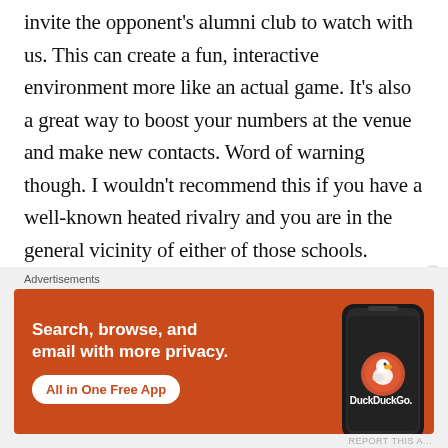invite the opponent's alumni club to watch with us. This can create a fun, interactive environment more like an actual game. It's also a great way to boost your numbers at the venue and make new contacts. Word of warning though. I wouldn't recommend this if you have a well-known heated rivalry and you are in the general vicinity of either of those schools. People can be a little more serious
[Figure (screenshot): DuckDuckGo advertisement banner on orange-red background. Text reads: 'Search, browse, and email with more privacy. All in One Free App' with DuckDuckGo duck logo and a smartphone image.]